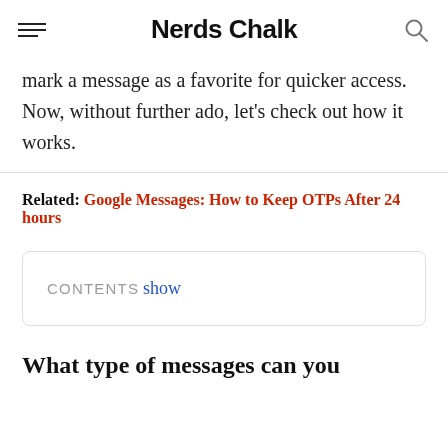Nerds Chalk
mark a message as a favorite for quicker access. Now, without further ado, let's check out how it works.
Related: Google Messages: How to Keep OTPs After 24 hours
CONTENTS show
What type of messages can you